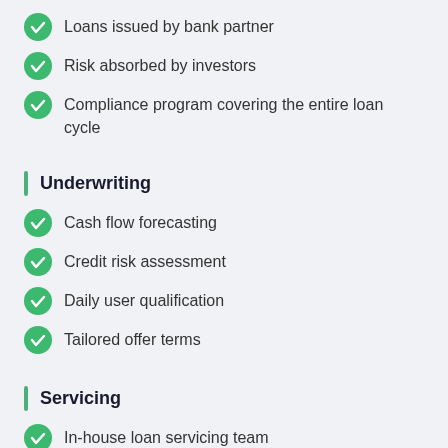Loans issued by bank partner
Risk absorbed by investors
Compliance program covering the entire loan cycle
Underwriting
Cash flow forecasting
Credit risk assessment
Daily user qualification
Tailored offer terms
Servicing
In-house loan servicing team
Servicers available to users across the entire loan cycle
Payment deferral options